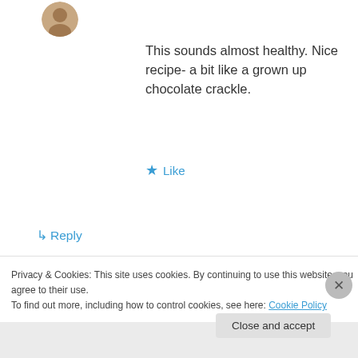[Figure (photo): Small circular avatar photo at top left]
This sounds almost healthy. Nice recipe- a bit like a grown up chocolate crackle.
★ Like
↳ Reply
[Figure (photo): Small circular avatar photo of ladyredspecs]
ladyredspecs on April 28, 2016 at 7:47 pm
Thanks, the butter is probably the baddie, but I'm of the opinion that butter makes
Privacy & Cookies: This site uses cookies. By continuing to use this website, you agree to their use.
To find out more, including how to control cookies, see here: Cookie Policy
Close and accept